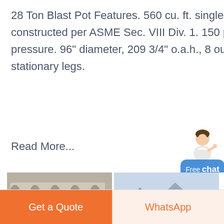28 Ton Blast Pot Features. 560 cu. ft. single chamber vessel – constructed per ASME Sec. VIII Div. 1. 150 psig working pressure. 96" diameter, 209 3/4" o.a.h., 8 outlet capability. 4 stationary legs.
Read More...
[Figure (photo): Industrial blast pot equipment photo on the left, outdoor structure/facility photo on the right]
[Figure (other): Barcode strip with text B-R in center]
Get a Quote
WhatsApp